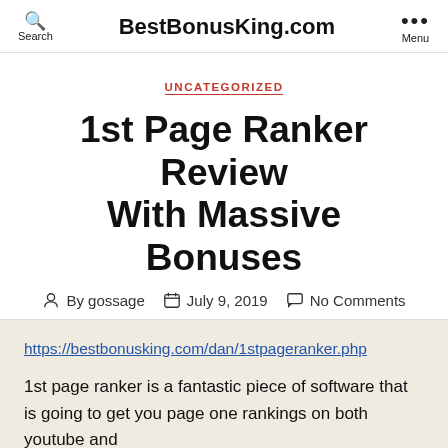Search   BestBonusKing.com   Menu
UNCATEGORIZED
1st Page Ranker Review With Massive Bonuses
By gossage   July 9, 2019   No Comments
https://bestbonusking.com/dan/1stpageranker.php
1st page ranker is a fantastic piece of software that is going to get you page one rankings on both youtube and google in just a couple of clicks. Click to learn more...